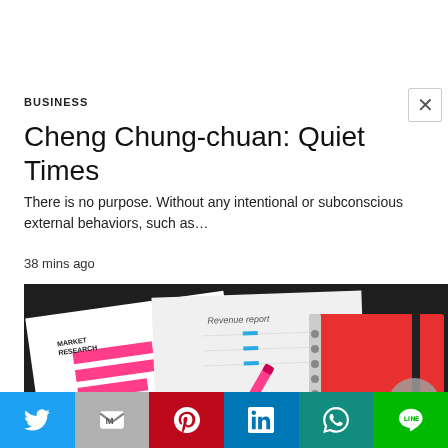BUSINESS
Cheng Chung-chuan: Quiet Times
There is no purpose. Without any intentional or subconscious external behaviors, such as…
38 mins ago
[Figure (photo): Photo of business documents including a bar chart labeled 'Market Research', a revenue report, a pink pen, and a red spiral notebook on a dark surface]
Twitter | Gmail | Pinterest | LinkedIn | WhatsApp | Line